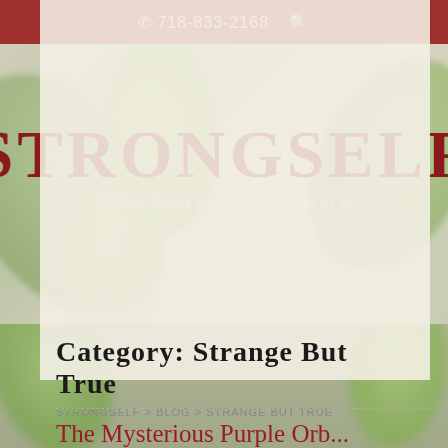☎ 718-833-2168  🔍
STRONGSELF
YOUR GOALS ARE OUR GOALS
≡ MENU
Category: Strange But True
STRONGSELF > BLOG > STRANGE BUT TRUE
The Mysterious Purple Orb...